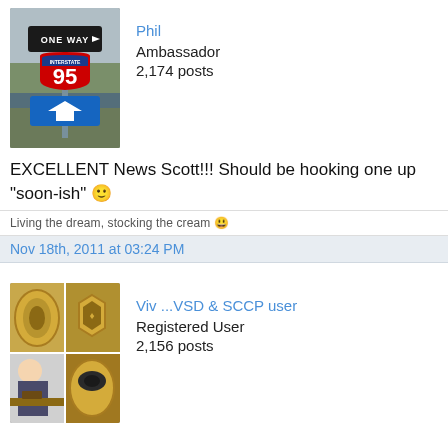[Figure (photo): Avatar photo of road signs: ONE WAY sign, Interstate 95 shield, and a blue left-arrow sign on a post outdoors]
Phil
Ambassador
2,174 posts
EXCELLENT News Scott!!! Should be hooking one up "soon-ish" 🙂
Living the dream, stocking the cream 😀
Nov 18th, 2011 at 03:24 PM
[Figure (photo): Avatar photo collage of gold signet rings and a person crafting/engraving jewelry]
Viv ...VSD & SCCP user
Registered User
2,156 posts